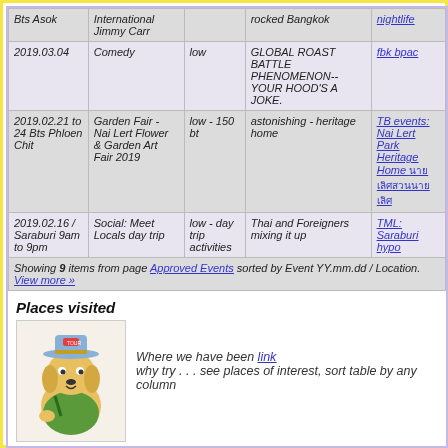| Date/Location | Category | Price | Description | Link |
| --- | --- | --- | --- | --- |
| Bts Asok | International Jimmy Carr | low | rocked Bangkok | nightlife |
| 2019.03.04 | Comedy | low | GLOBAL ROAST BATTLE PHENOMENON--YOUR HOOD'S A JOKE. | fbk bpac |
| 2019.02.21 to 24 Bts Phloen Chit | Garden Fair - Nai Lert Flower & Garden Art Fair 2019 | low - 150 bt | astonishing - heritage home | TB events: Nai Lert Park Heritage Home นายเลิศ สวนนายเลิศ |
| 2019.02.16 / Saraburi 9am to 9pm | Social: Meet Locals day trip | low - day trip activities | Thai and Foreigners mixing it up | TML: Saraburi hypo |
Showing 9 items from page Approved Events sorted by Event YY.mm.dd / Location. View more »
Places visited
[Figure (illustration): Cartoon dog wearing a hat carrying a backpack, tourist mascot illustration]
Where we have been link
why try . . . see places of interest, sort table by any column